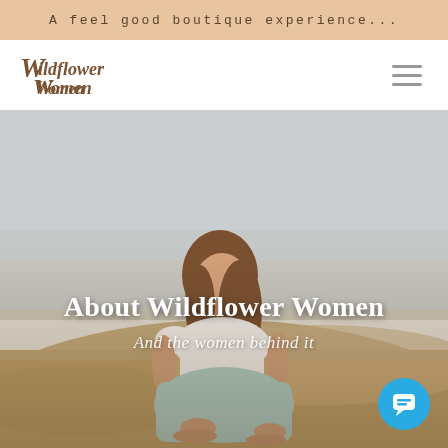A feel good boutique experience...
[Figure (logo): Wildflower Women cursive logo in brown serif/italic font]
[Figure (photo): A woman with long blonde hair wearing a white off-shoulder top and light teal/mint skirt, sitting barefoot on sandy beach dunes with a misty sky background. Text overlay reads 'About Wildflower Women' and 'And the women behind it'. A blue chat button appears in the bottom right corner.]